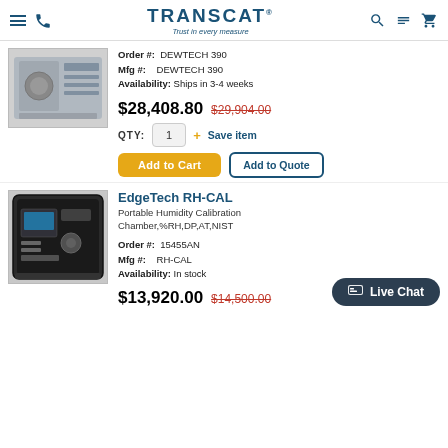TRANSCAT — Trust in every measure
[Figure (photo): Photo of calibration instrument (DEWTECH 390) — gray rack-mount unit]
Order #: DEWTECH 390
Mfg #: DEWTECH 390
Availability: Ships in 3-4 weeks
$28,408.80  $29,904.00
QTY: 1  + Save item
Add to Cart  Add to Quote
EdgeTech RH-CAL
Portable Humidity Calibration Chamber,%RH,DP,AT,NIST
Order #: 15455AN
Mfg #: RH-CAL
Availability: In stock
[Figure (photo): Photo of EdgeTech RH-CAL portable humidity calibration chamber in carrying case]
$13,920.00  $14,500.00
Live Chat